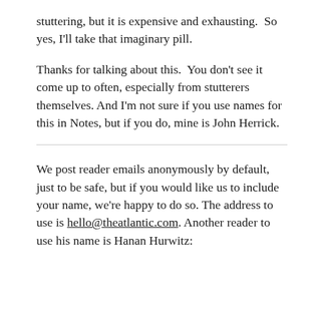stuttering, but it is expensive and exhausting.  So yes, I'll take that imaginary pill.
Thanks for talking about this.  You don't see it come up to often, especially from stutterers themselves. And I'm not sure if you use names for this in Notes, but if you do, mine is John Herrick.
We post reader emails anonymously by default, just to be safe, but if you would like us to include your name, we're happy to do so. The address to use is hello@theatlantic.com. Another reader to use his name is Hanan Hurwitz: